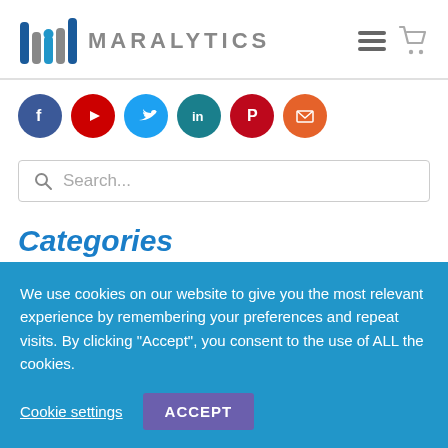[Figure (logo): Maralytics logo with stylized bar chart icon in blue/gray and text MARALYTICS in gray]
[Figure (infographic): Social media icons row: Facebook (dark blue), YouTube (red), Twitter (light blue), LinkedIn (teal), Pinterest (red), Email (orange-red)]
Search...
Categories
We use cookies on our website to give you the most relevant experience by remembering your preferences and repeat visits. By clicking “Accept”, you consent to the use of ALL the cookies.
Cookie settings
ACCEPT